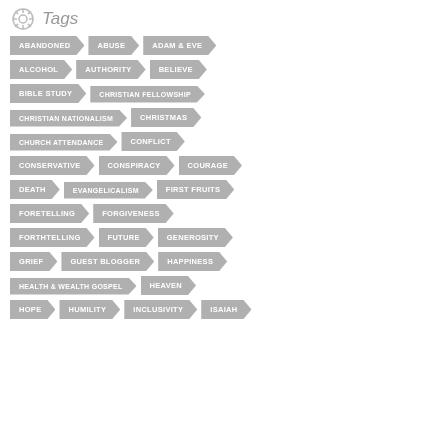Tags
ABANDONED
ABUSE
ADAM & EVE
ALCOHOL
AUTHORITY
BELIEVE
BIBLE STUDY
CHRISTIAN FELLOWSHIP
CHRISTIAN NATIONALISM
CHRISTMAS
CHURCH ATTENDANCE
CONFLICT
CONSERVATIVE
CONSPIRACY
COURAGE
DEATH
EVANGELICALISM
FIRST FRUITS
FORETELLING
FORGIVENESS
FORTHTELLING
FUTURE
GENEROSITY
GRIEF
GUEST BLOGGER
HAPPINESS
HEALTH & WEALTH GOSPEL
HEAVEN
HOPE
HUMILITY
INCLUSIVITY
ISAIAH